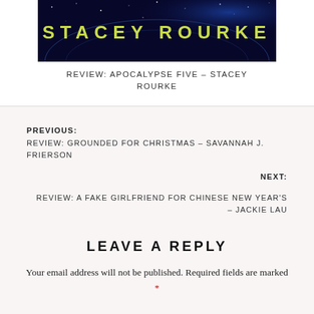[Figure (illustration): Book cover image for Apocalypse Five by Stacey Rourke — dark navy/space background with text 'STACEY ROURKE' in yellow-green letters]
REVIEW: APOCALYPSE FIVE – STACEY ROURKE
PREVIOUS:
REVIEW: GROUNDED FOR CHRISTMAS – SAVANNAH J. FRIERSON
NEXT:
REVIEW: A FAKE GIRLFRIEND FOR CHINESE NEW YEAR'S – JACKIE LAU
LEAVE A REPLY
Your email address will not be published. Required fields are marked *